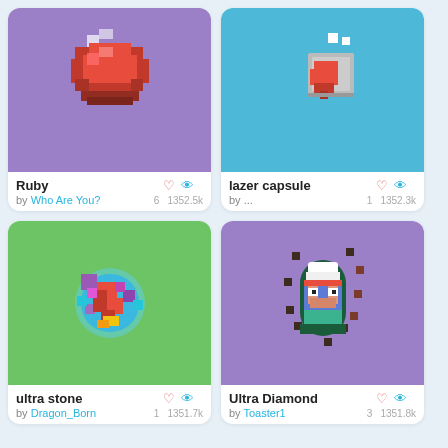[Figure (illustration): Pixel art of a red ruby gem on a purple background]
Ruby
by Who Are You?
6 1352.5k
[Figure (illustration): Pixel art of a red heart / lazer capsule on a blue background]
lazer capsule
by ...
1 1352.3k
[Figure (illustration): Pixel art of a colorful ultra stone on a green background]
ultra stone
by Dragon_Born
1 1351.7k
[Figure (illustration): Pixel art of Ultra Diamond character on a purple background]
Ultra Diamond
by Toaster1
3 1351.8k